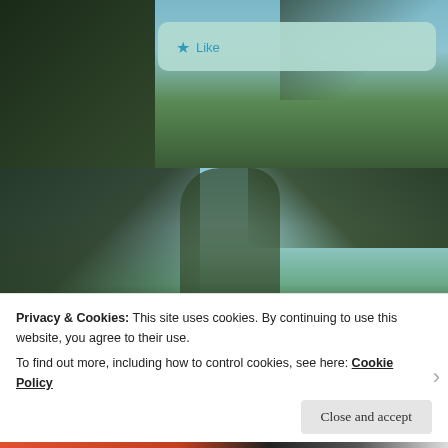[Figure (photo): Blog comment page screenshot showing tree/nature photo background with comment cards and a cookie consent banner overlay]
Like
laflor5233 (Author)
March 22, 2018 at 5:02 pm
I'm so glad, hope you give it a try one day.
Privacy & Cookies: This site uses cookies. By continuing to use this website, you agree to their use.
To find out more, including how to control cookies, see here: Cookie Policy
Close and accept